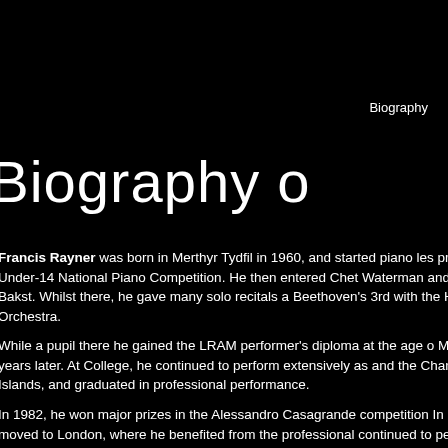Biography
Biography o
Francis Rayner was born in Merthyr Tydfil in 1960, and started piano les prize in the Under-14 National Piano Competition. He then entered Chet Waterman and Ryszard Bakst. Whilst there, he gave many solo recitals a Beethoven's 3rd with the Hallé Orchestra.
While a pupil there he gained the LRAM performer's diploma at the age o Music two years later. At College, he continued to perform extensively as and the Channel Islands, and graduated in professional performance.
In 1982, he won major prizes in the Alessandro Casagrande competition In 1983, he moved to London, where he benefited from the professional continued to perform and to teach both in the U.K and abroad, visiting S broadcast on Italian television, French radio and the B.B.C.